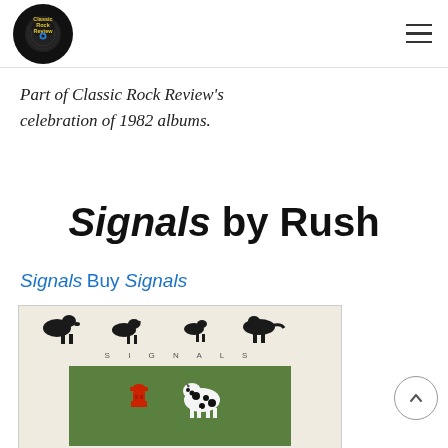Classic Rock Review
Part of Classic Rock Review's celebration of 1982 albums.
Signals by Rush
Buy Signals
[Figure (photo): Album cover for Signals by Rush showing a beige background with four small black dog silhouettes at top spelling out 'SIGNALS' in letters below, and a green grass area with a red fire hydrant and a black-and-white dog.]